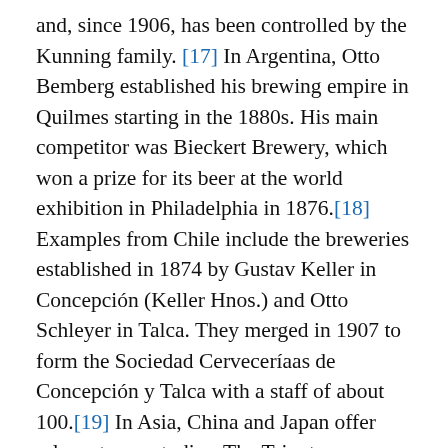and, since 1906, has been controlled by the Kunning family. [17] In Argentina, Otto Bemberg established his brewing empire in Quilmes starting in the 1880s. His main competitor was Bieckert Brewery, which won a prize for its beer at the world exhibition in Philadelphia in 1876.[18] Examples from Chile include the breweries established in 1874 by Gustav Keller in Concepción (Keller Hnos.) and Otto Schleyer in Talca. They merged in 1907 to form the Sociedad Cerveceríaas de Concepción y Talca with a staff of about 100.[19] In Asia, China and Japan offer relevant case studies. The Tsingtao Brewery was founded during the German colonial presence in Kiautschou (1897-1919), and it still produces one of the main Chinese export beers. The Japanese brewing industry has its roots in the "Bavarian Brewery" founded in 1869 by a German-American, E. Wiegand. Management passed into Japanese hands in 1888. The beer was renamed Kirin and is today one of the national market leaders and export beers.[20] In Australia, lager beer was first brewed in 1885 by two Germans who founded the Gambrinus brewery in Melbourne in 1885. The real impetus, however, came when Dortmund-born Edmund Roch bought a brewery in Sydney in 1886 and